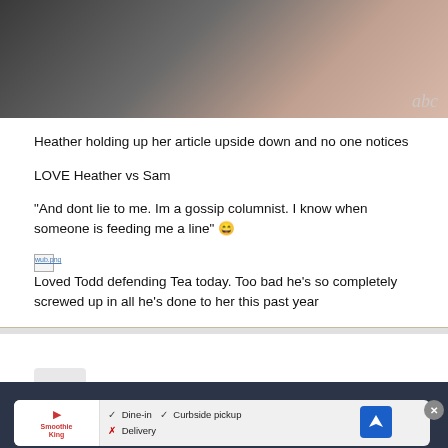[Figure (photo): Screenshot of a TV show (ABC) showing a person in a pink jacket holding up a paper/article upside down]
Heather holding up her article upside down and no one notices
LOVE Heather vs Sam
"And dont lie to me. Im a gossip columnist. I know when someone is feeding me a line" 😄
[wub.png] Loved Todd defending Tea today. Too bad he's so completely screwed up in all he's done to her this past year
Important Information
By using this site, you agree to our Terms of Use and Privacy Policy
[Figure (screenshot): Advertisement banner for a restaurant showing Dine-in, Curbside pickup, Delivery options with a navigation arrow icon and a close button]